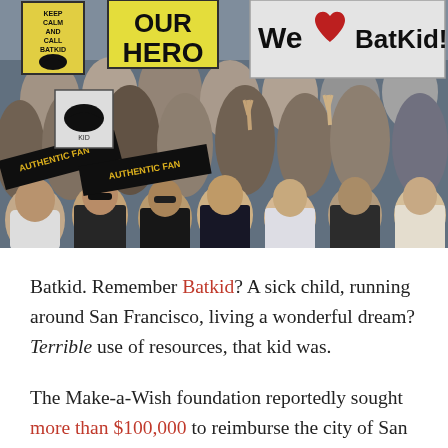[Figure (photo): A large crowd of people outdoors holding signs reading 'OUR HERO', 'We LOVE BatKid' (with a red heart), 'KEEP CALM AND CALL BATKID', and 'AUTHENTIC FAN'. Many people are smiling and making peace signs. The photo appears to be from the Batkid event in San Francisco.]
Batkid. Remember Batkid? A sick child, running around San Francisco, living a wonderful dream? Terrible use of resources, that kid was.
The Make-a-Wish foundation reportedly sought more than $100,000 to reimburse the city of San Francisco for